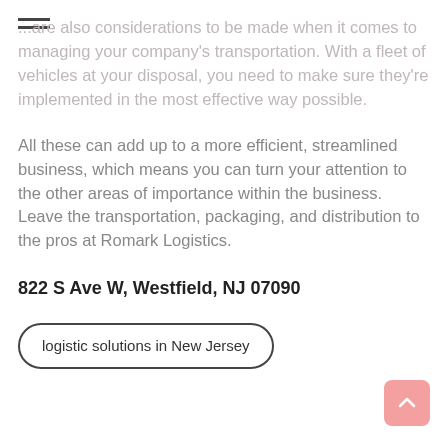[Figure (other): Hamburger menu icon (three horizontal lines)]
...are also considerations to be made when it comes to managing your company's transportation. With a fleet of vehicles at your disposal, you need to make sure they're implemented in the most effective way possible.
All these can add up to a more efficient, streamlined business, which means you can turn your attention to the other areas of importance within the business. Leave the transportation, packaging, and distribution to the pros at Romark Logistics.
822 S Ave W, Westfield, NJ 07090
logistic solutions in New Jersey
[Figure (other): Scroll-to-top button (pink rounded square with upward arrow)]